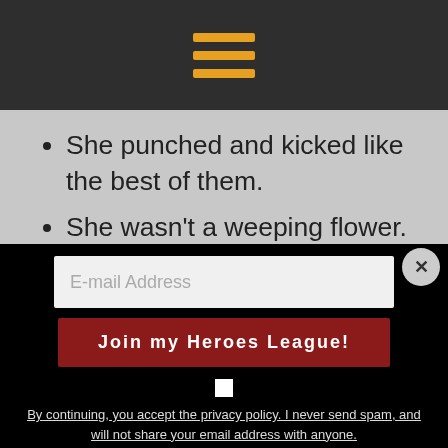[Figure (other): Dark top navigation bar with a hamburger menu icon (three horizontal yellow/orange lines)]
She punched and kicked like the best of them.
She wasn't a weeping flower.
She was an Amazonian (who my SAGE secretly believes meant she was Black and only passed as a White woman)
E-mail Address
Join my Heroes League!
By continuing, you accept the privacy policy. I never send spam, and will not share your email address with anyone.